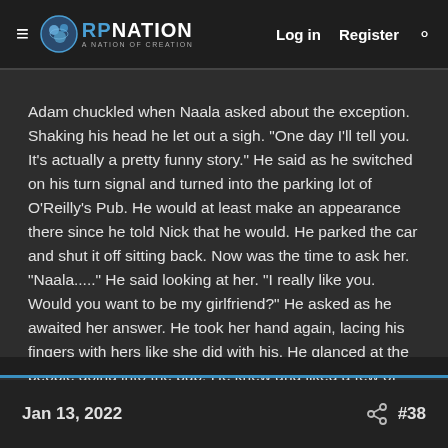RP Nation — Log in  Register
Adam chuckled when Naala asked about the exception. Shaking his head he let out a sigh. "One day I'll tell you. It's actually a pretty funny story." He said as he switched on his turn signal and turned into the parking lot of O'Reilly's Pub. He would at least make an appearance there since he told Nick that he would. He parked the car and shut it off sitting back. Now was the time to ask her. "Naala....." He said looking at her. "I really like you. Would you want to be my girlfriend?" He asked as he awaited her answer. He took her hand again, lacing his fingers with hers like she did with his. He glanced at the people going into the pub. He knew and liked a few of them. He turned his attention back to Naala giving a soft smile.
Jan 13, 2022  #38